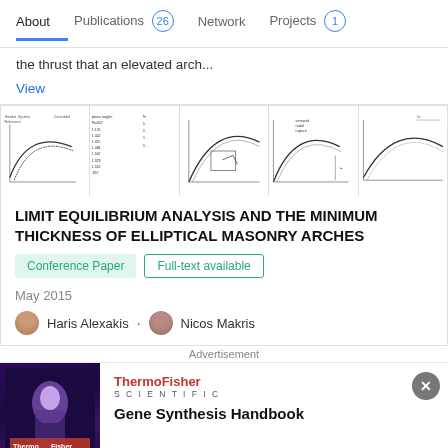About   Publications 26   Network   Projects 1
the thrust that an elevated arch...
View
[Figure (engineering-diagram): Strip of 5 technical diagrams showing elliptical masonry arch cross-sections and limit equilibrium analysis figures]
LIMIT EQUILIBRIUM ANALYSIS AND THE MINIMUM THICKNESS OF ELLIPTICAL MASONRY ARCHES
Conference Paper   Full-text available
May 2015
Haris Alexakis · Nicos Makris
Advertisement
[Figure (photo): ThermoFisher Scientific advertisement with dark purple background and person in lab coat]
ThermoFisher SCIENTIFIC
Gene Synthesis Handbook